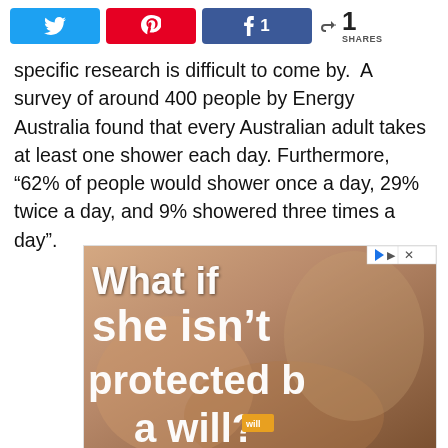[Figure (screenshot): Social share bar with Twitter (blue), Pinterest (red), Facebook with count '1' (blue) buttons, and a share icon with '1 SHARES' count]
specific research is difficult to come by.  A survey of around 400 people by Energy Australia found that every Australian adult takes at least one shower each day. Furthermore, “62% of people would shower once a day, 29% twice a day, and 9% showered three times a day”.
[Figure (screenshot): Advertisement image showing a baby with text overlay: 'What if she isn’t protected by a will?' with an orange logo at bottom center]